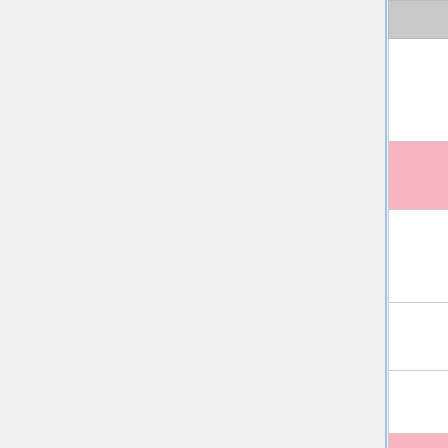| Service | Estimated links | Date |
| --- | --- | --- |
| tightan.com +/- | ? | 2... |
| tiny-tw +/- | 813,979 | 2016-05... |
| tinyurl_7 +/- | 10,000,000,000 | 2022-... |
| tiny-pl +/- | ? | 2016-24... |
| tinyurl-hu_4 +/- | ? | 2015-03... |
| tip-pe +/- | ? | 2019-10... |
| toi-in +/- | ? | 2022-... |
| trap-it +/- | ? | 2015-20... |